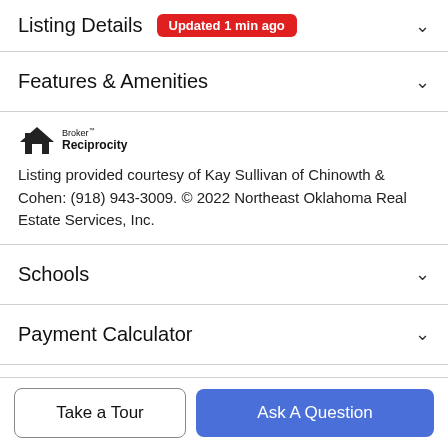Listing Details  Updated 1 min ago
Features & Amenities
[Figure (logo): Broker Reciprocity logo — small house icon with 'Broker Reciprocity' text]
Listing provided courtesy of Kay Sullivan of Chinowth & Cohen: (918) 943-3009. © 2022 Northeast Oklahoma Real Estate Services, Inc.
Schools
Payment Calculator
Contact Agent
Take a Tour
Ask A Question